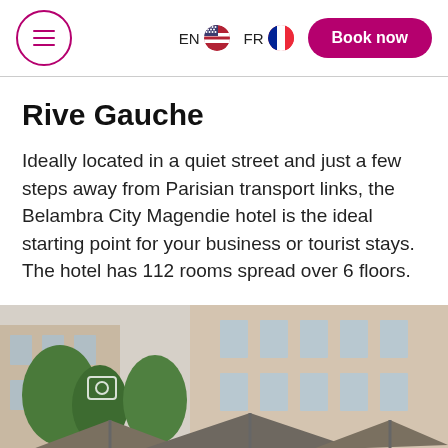EN FR Book now
Rive Gauche
Ideally located in a quiet street and just a few steps away from Parisian transport links, the Belambra City Magendie hotel is the ideal starting point for your business or tourist stays. The hotel has 112 rooms spread over 6 floors.
[Figure (photo): Outdoor courtyard of Belambra City Magendie hotel showing grey patio umbrellas, trees, and the building facade in beige/terracotta tones]